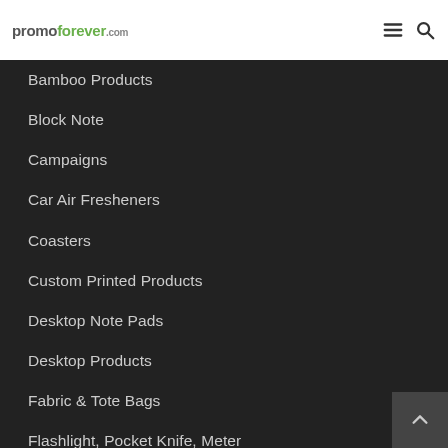promoforever.com
Bamboo Products
Block Note
Campaigns
Car Air Fresheners
Coasters
Custom Printed Products
Desktop Note Pads
Desktop Products
Fabric & Tote Bags
Flashlight, Pocket Knife, Meter
Gift Boxes
Glass Productions